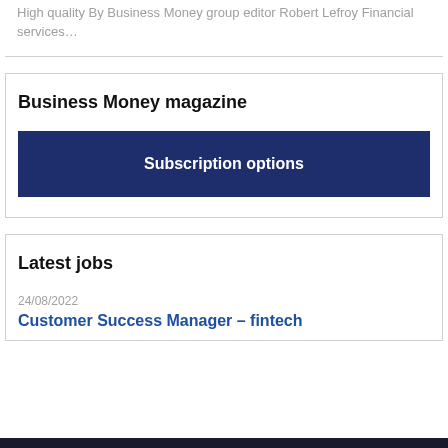High quality By Business Money group editor Robert Lefroy Financial services…
Business Money magazine
Subscription options
Latest jobs
24/08/2022
Customer Success Manager – fintech